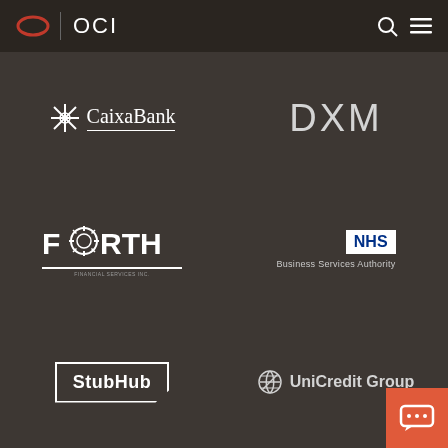OCI
[Figure (logo): CaixaBank logo with star icon and underlined text]
[Figure (logo): DXM logo in light gray large text]
[Figure (logo): FORTH logo in bold white uppercase with gear icon in O]
[Figure (logo): NHS Business Services Authority logo - NHS badge in white with blue text and subtitle]
[Figure (logo): StubHub logo in white box with angled bottom-right corner]
[Figure (logo): UniCredit Group logo with circular globe icon]